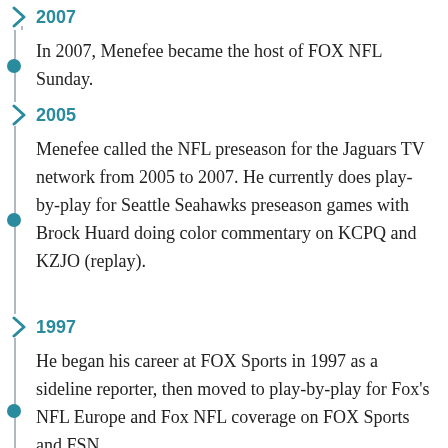2007
In 2007, Menefee became the host of FOX NFL Sunday.
2005
Menefee called the NFL preseason for the Jaguars TV network from 2005 to 2007. He currently does play-by-play for Seattle Seahawks preseason games with Brock Huard doing color commentary on KCPQ and KZJO (replay).
1997
He began his career at FOX Sports in 1997 as a sideline reporter, then moved to play-by-play for Fox's NFL Europe and Fox NFL coverage on FOX Sports and FSN.